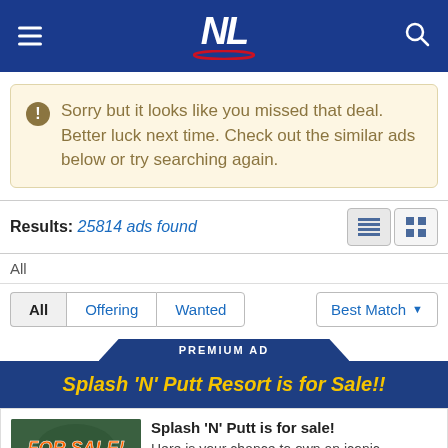[Figure (screenshot): Website header with NL logo in white on blue background, hamburger menu icon on left, search icon on right]
Sorry but it looks like you missed that deal. Better luck next time. Check out the similar ads below or try searching again.
Results: 25814 ads found
All
All  Offering  Wanted  Best Match
PREMIUM AD
Splash 'N' Putt Resort is for Sale!!
Splash 'N' Putt is for sale! Here is your chance to own an iconic Newfoundland resort! The Splash 'N'